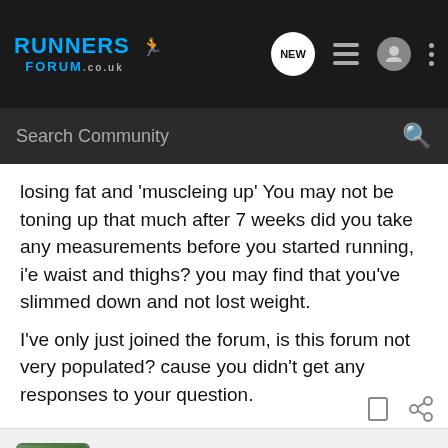[Figure (screenshot): Runners Forum website navigation bar with logo, search bar, and icons]
losing fat and 'muscleing up' You may not be toning up that much after 7 weeks did you take any measurements before you started running, i'e waist and thighs? you may find that you've slimmed down and not lost weight.
I've only just joined the forum, is this forum not very populated? cause you didn't get any responses to your question.
richardsimkiss · Premium Member
Joined Sep 5, 2007 · 13,089 Posts
#3 · Feb 29, 2008
I'm guessing there wasn't a response as there was no obvious